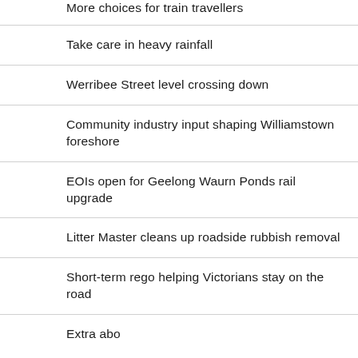More choices for train travellers
Take care in heavy rainfall
Werribee Street level crossing down
Community industry input shaping Williamstown foreshore
EOIs open for Geelong Waurn Ponds rail upgrade
Litter Master cleans up roadside rubbish removal
Short-term rego helping Victorians stay on the road
Extra abo...